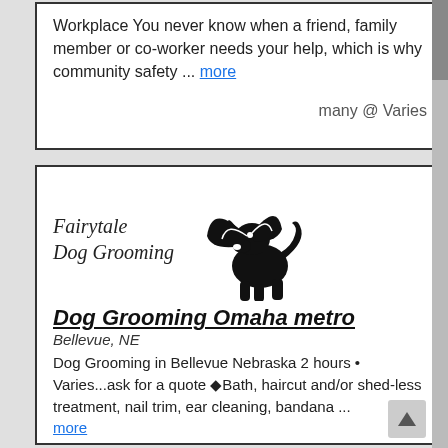Workplace You never know when a friend, family member or co-worker needs your help, which is why community safety ... more
many @ Varies
[Figure (logo): Fairytale Dog Grooming logo with cursive text and a silhouette of a dog sitting with a fairy wing]
Dog Grooming Omaha metro
Bellevue, NE
Dog Grooming in Bellevue Nebraska 2 hours • Varies...ask for a quote ◆Bath, haircut and/or shed-less treatment, nail trim, ear cleaning, bandana ... more